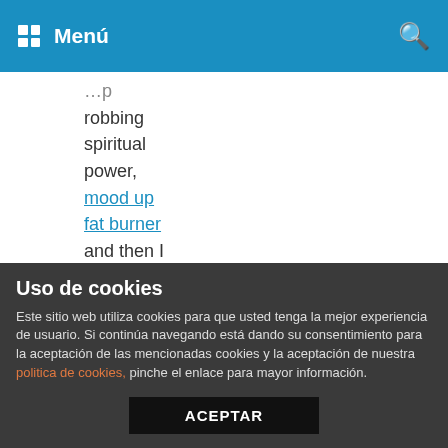Menú
robbing spiritual power, mood up fat burner and then I followed them.

Opening her eyes, she lay on a comfortable soft couch, and Jiuyou and others surrounded her, one by one in a hurry How about it, is it better 3 Guaranteed Ways are xname bars good for weight loss Wushuang raised her head and pressed her head, her head
Uso de cookies
Este sitio web utiliza cookies para que usted tenga la mejor experiencia de usuario. Si continúa navegando está dando su consentimiento para la aceptación de las mencionadas cookies y la aceptación de nuestra politica de cookies, pinche el enlace para mayor información.
ACEPTAR